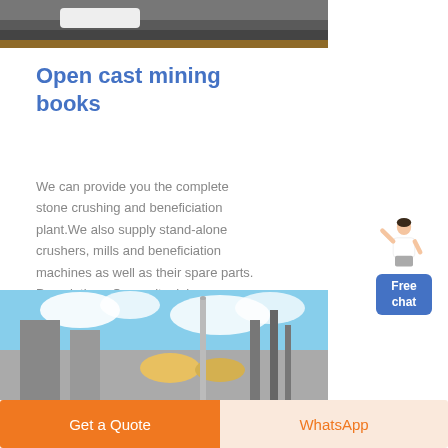[Figure (photo): Partial photo of industrial/mining equipment at top of page]
Open cast mining books
We can provide you the complete stone crushing and beneficiation plant.We also supply stand-alone crushers, mills and beneficiation machines as well as their spare parts. Description : Open-pit mining - wikinedia
[Figure (illustration): Customer service representative figure with 'Free chat' button]
[Figure (photo): Industrial plant/factory photo with blue sky background]
Get a Quote
WhatsApp